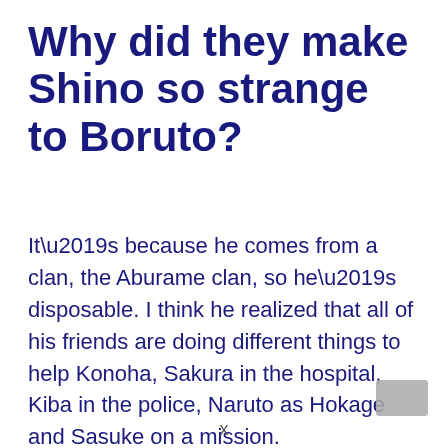Why did they make Shino so strange to Boruto?
It’s because he comes from a clan, the Aburame clan, so he’s disposable. I think he realized that all of his friends are doing different things to help Konoha, Sakura in the hospital, Kiba in the police, Naruto as Hokage and Sasuke on a mission.